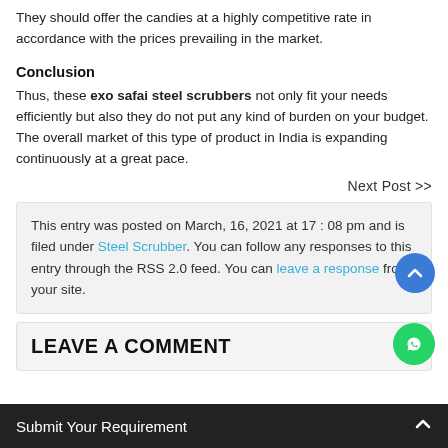They should offer the candies at a highly competitive rate in accordance with the prices prevailing in the market.
Conclusion
Thus, these exo safai steel scrubbers not only fit your needs efficiently but also they do not put any kind of burden on your budget. The overall market of this type of product in India is expanding continuously at a great pace.
Next Post >>
This entry was posted on March, 16, 2021 at 17 : 08 pm and is filed under Steel Scrubber. You can follow any responses to this entry through the RSS 2.0 feed. You can leave a response from your site.
LEAVE A COMMENT
Submit Your Requirement